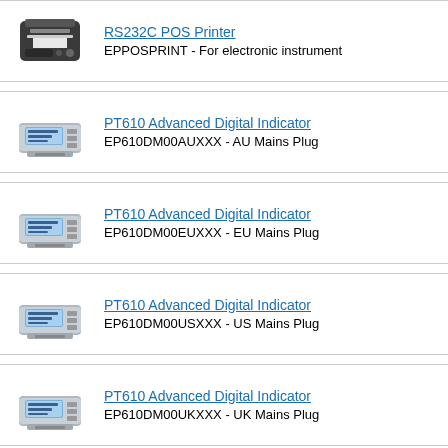RS232C POS Printer
EPPOSSPRINT - For electronic instrument
PT610 Advanced Digital Indicator
EP610DM00AUXXX - AU Mains Plug
PT610 Advanced Digital Indicator
EP610DM00EUXXX - EU Mains Plug
PT610 Advanced Digital Indicator
EP610DM00USXXX - US Mains Plug
PT610 Advanced Digital Indicator
EP610DM00UKXXX - UK Mains Plug
PT620 Advanced Indicator
EP620DM00AUXXX - AU Mains Plug